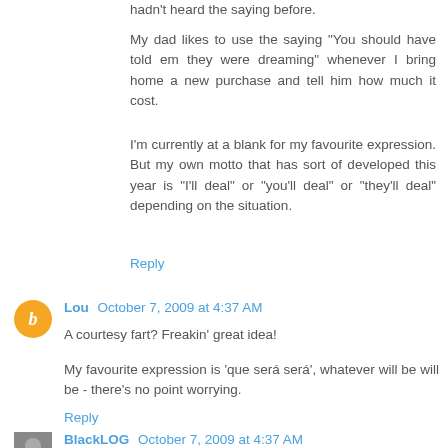hadn't heard the saying before.
My dad likes to use the saying "You should have told em they were dreaming" whenever I bring home a new purchase and tell him how much it cost.
I'm currently at a blank for my favourite expression. But my own motto that has sort of developed this year is "I'll deal" or "you'll deal" or "they'll deal" depending on the situation.
Reply
Lou  October 7, 2009 at 4:37 AM
A courtesy fart? Freakin' great idea!
My favourite expression is 'que será será', whatever will be will be - there's no point worrying.
Reply
BlackLOG  October 7, 2009 at 4:37 AM